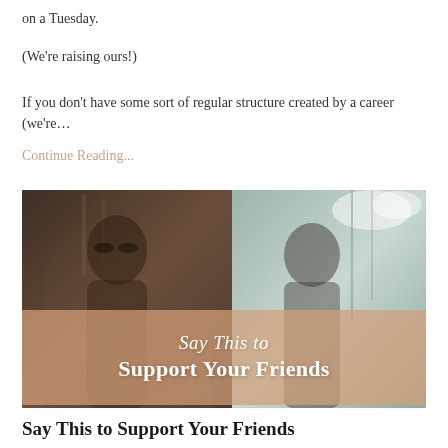on a Tuesday.
(We're raising ours!)
If you don't have some sort of regular structure created by a career (we're…
Continue Reading...
[Figure (photo): Two women sitting together and laughing, with a semi-transparent peach/salmon colored band overlay reading 'Say This to Support Your Friends' in script and bold text]
Say This to Support Your Friends